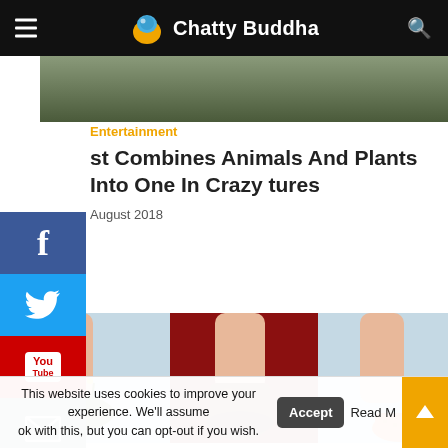Chatty Buddha
[Figure (photo): Top portion of an article image, dark greenish background]
Entertainment
st Combines Animals And Plants Into One In Crazy tures
August 2018
[Figure (photo): Composite photo showing different feet/legs: one with grass and flowers growing from it, one with a brown glossy boot against a red background, one bare foot with an orange sponge-like growth]
This website uses cookies to improve your experience. We'll assume ok with this, but you can opt-out if you wish.